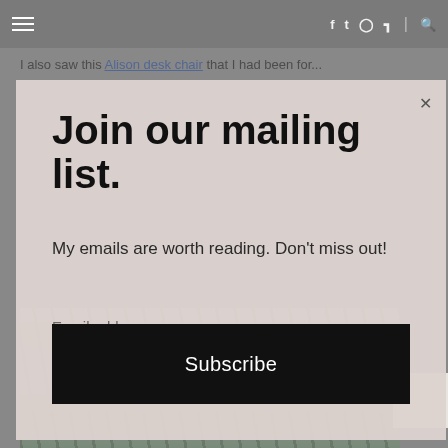≡  f  t  instagram  p  |  search
I also saw this Alison desk chair that I had been for...
Join our mailing list.
My emails are worth reading. Don't miss out!
Email address
Subscribe
[Figure (photo): Background photo of what appears to be outdoor furniture or architectural elements with greenery]